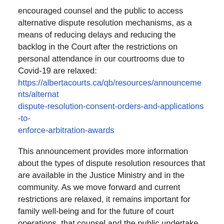encouraged counsel and the public to access alternative dispute resolution mechanisms, as a means of reducing delays and reducing the backlog in the Court after the restrictions on personal attendance in our courtrooms due to Covid-19 are relaxed: https://albertacourts.ca/qb/resources/announcements/alternative-dispute-resolution-consent-orders-and-applications-to-enforce-arbitration-awards
This announcement provides more information about the types of dispute resolution resources that are available in the Justice Ministry and in the community. As we move forward and current restrictions are relaxed, it remains important for family well-being and for the future of court operations, that counsel and the public undertake alternative dispute resolution mechanisms as a means of resolving family matters.
The Alberta Rules of Court were amended in March of 2020 to allow a Justice to direct by order that the parties participate in a dispute resolution process. In addition, for